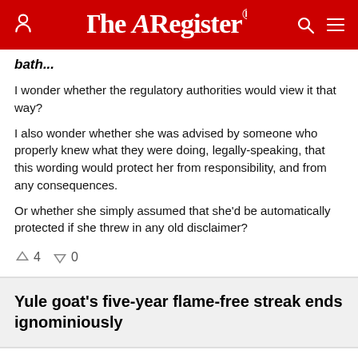The Register
bath...
I wonder whether the regulatory authorities would view it that way?
I also wonder whether she was advised by someone who properly knew what they were doing, legally-speaking, that this wording would protect her from responsibility, and from any consequences.
Or whether she simply assumed that she'd be automatically protected if she threw in any old disclaimer?
↑4  ↓0
Yule goat's five-year flame-free streak ends ignominiously
Wednesday 29th December 2021 13:03 GMT